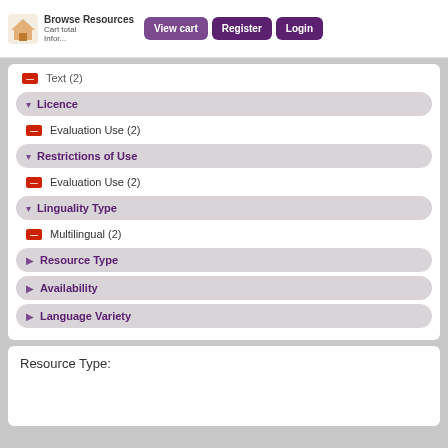Browse Resources  Cart total  Infor...  View cart  Register  Login
Text (2)
Licence
Evaluation Use (2)
Restrictions of Use
Evaluation Use (2)
Linguality Type
Multilingual (2)
Resource Type
Availability
Language Variety
Resource Type: